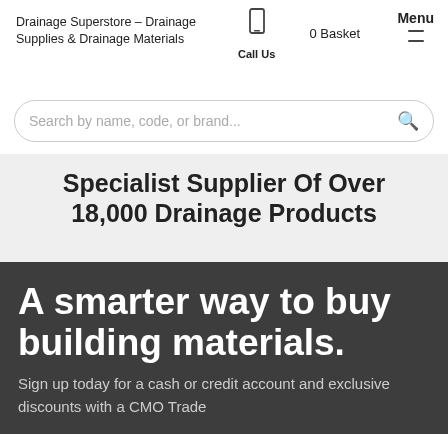Drainage Superstore – Drainage Supplies & Drainage Materials
Call Us
0 Basket
Menu
Search by name, code, or brand...
Specialist Supplier Of Over 18,000 Drainage Products
A smarter way to buy building materials.
Sign up today for a cash or credit account and exclusive discounts with a CMO Trade